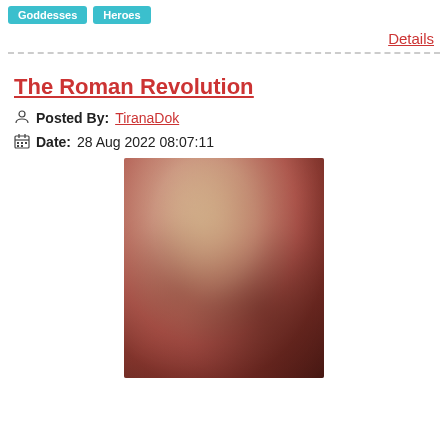Goddesses  Heroes
Details
The Roman Revolution
Posted By: TiranaDok
Date: 28 Aug 2022 08:07:11
[Figure (photo): Blurred/obscured book cover or artwork image related to The Roman Revolution, showing warm reddish-brown tones with some lighter central area suggesting a figure or statue.]